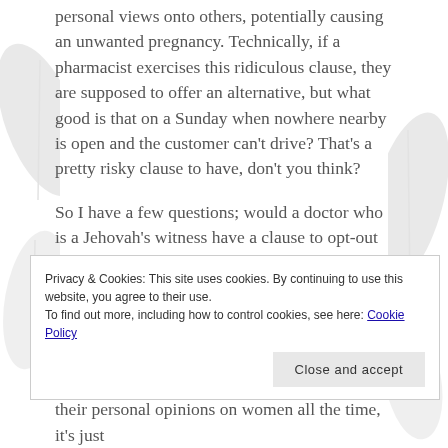personal views onto others, potentially causing an unwanted pregnancy. Technically, if a pharmacist exercises this ridiculous clause, they are supposed to offer an alternative, but what good is that on a Sunday when nowhere nearby is open and the customer can't drive? That's a pretty risky clause to have, don't you think?
So I have a few questions; would a doctor who is a Jehovah's witness have a clause to opt-out of giving a life-saving blood transfusion because of her/his personal beliefs? Does a doctor who is Jewish have an opt-in clause to enforce circumcision on all babies because of his/her own beliefs? Is the opt-out clause used for anything other than emergency
Privacy & Cookies: This site uses cookies. By continuing to use this website, you agree to their use.
To find out more, including how to control cookies, see here: Cookie Policy
their personal opinions on women all the time, it's just